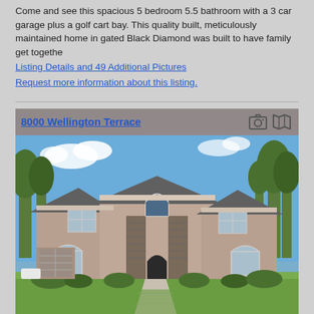Come and see this spacious 5 bedroom 5.5 bathroom with a 3 car garage plus a golf cart bay. This quality built, meticulously maintained home in gated Black Diamond was built to have family get togethe
Listing Details and 49 Additional Pictures
Request more information about this listing.
8000 Wellington Terrace
[Figure (photo): Exterior photo of a large two-story stucco home with arched windows, stone accents, and landscaping. Blue sky with trees in background.]